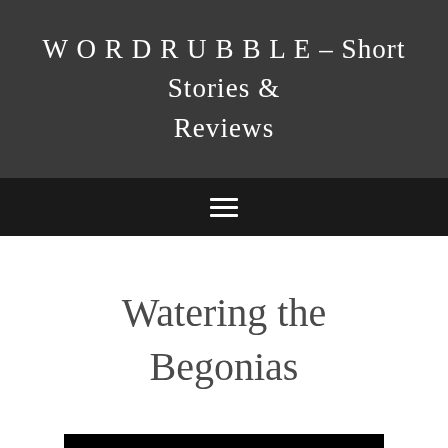W O R D R U B B L E – Short Stories & Reviews
Watering the Begonias
[Figure (photo): Dark image with a glowing light source at the bottom center, appearing to show a candle or flame against a black background]